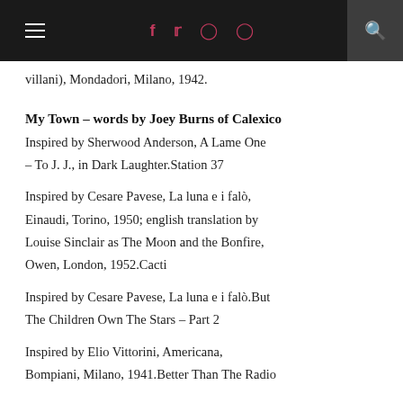≡  f  t  [instagram]  [pinterest]  [search]
villani), Mondadori, Milano, 1942.
My Town – words by Joey Burns of Calexico
Inspired by Sherwood Anderson, A Lame One – To J. J., in Dark Laughter.Station 37
Inspired by Cesare Pavese, La luna e i falò, Einaudi, Torino, 1950; english translation by Louise Sinclair as The Moon and the Bonfire, Owen, London, 1952.Cacti
Inspired by Cesare Pavese, La luna e i falò.But The Children Own The Stars – Part 2
Inspired by Elio Vittorini, Americana, Bompiani, Milano, 1941.Better Than The Radio